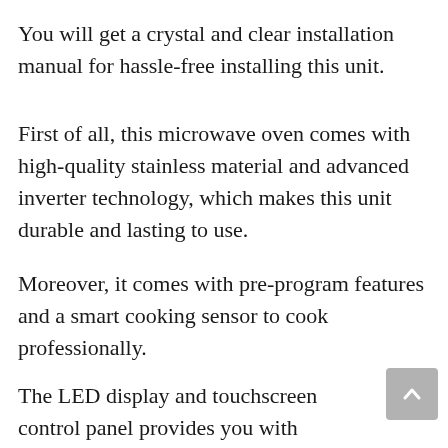You will get a crystal and clear installation manual for hassle-free installing this unit.
First of all, this microwave oven comes with high-quality stainless material and advanced inverter technology, which makes this unit durable and lasting to use.
Moreover, it comes with pre-program features and a smart cooking sensor to cook professionally.
The LED display and touchscreen control panel provides you with excellent